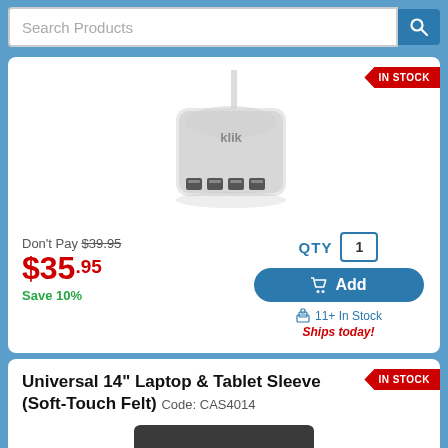Search Products
[Figure (photo): klik branded USB multi-port charger hub, silver/white, with cable]
Don't Pay $39.95
$35.95
Save 10%
QTY 1
Add
11+ In Stock
Ships today!
Universal 14" Laptop & Tablet Sleeve (Soft-Touch Felt)
Code: CAS4014
[Figure (photo): Dark grey felt laptop sleeve with flap closure and brown leather tab]